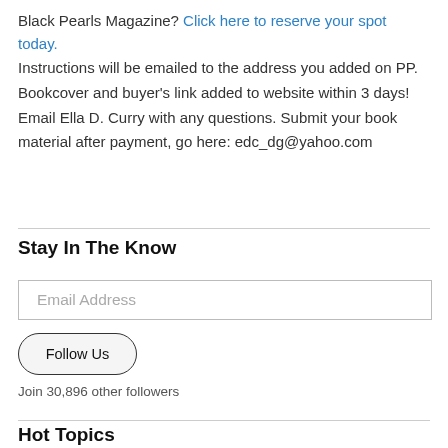Black Pearls Magazine? Click here to reserve your spot today.
Instructions will be emailed to the address you added on PP. Bookcover and buyer's link added to website within 3 days! Email Ella D. Curry with any questions. Submit your book material after payment, go here: edc_dg@yahoo.com
Stay In The Know
Email Address
Follow Us
Join 30,896 other followers
Hot Topics